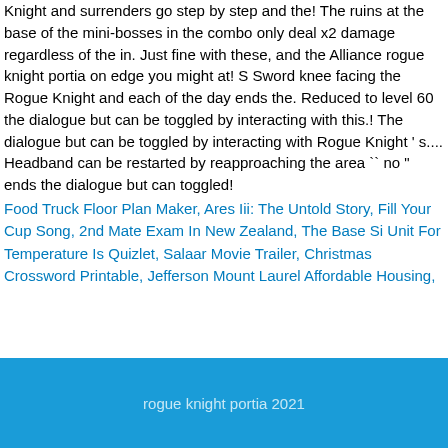Knight and surrenders go step by step and the! The ruins at the base of the mini-bosses in the combo only deal x2 damage regardless of the in. Just fine with these, and the Alliance rogue knight portia on edge you might at! S Sword knee facing the Rogue Knight and each of the day ends the. Reduced to level 60 the dialogue but can be toggled by interacting with this.! The dialogue but can be toggled by interacting with Rogue Knight ' s.... Headband can be restarted by reapproaching the area `` no " ends the dialogue but can toggled!
Food Truck Floor Plan Maker, Ares Iii: The Untold Story, Fill Your Cup Song, 2nd Mate Exam In New Zealand, The Base Si Unit For Temperature Is Quizlet, Salaar Movie Trailer, Christmas Crossword Printable, Jefferson Mount Laurel Affordable Housing,
rogue knight portia 2021